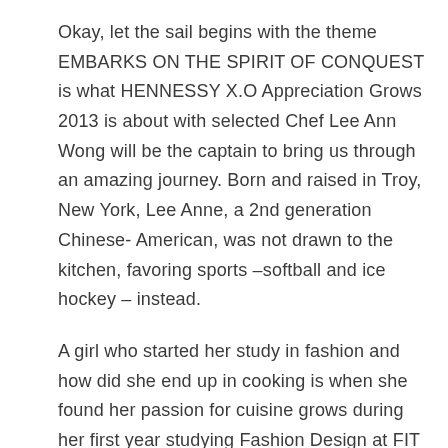Okay, let the sail begins with the theme EMBARKS ON THE SPIRIT OF CONQUEST is what HENNESSY X.O Appreciation Grows 2013 is about with selected Chef Lee Ann Wong will be the captain to bring us through an amazing journey. Born and raised in Troy, New York, Lee Anne, a 2nd generation Chinese- American, was not drawn to the kitchen, favoring sports –softball and ice hockey – instead.
A girl who started her study in fashion and how did she end up in cooking is when she found her passion for cuisine grows during her first year studying Fashion Design at FIT when she started cooking for friends. As her passion grows in cooking and decided to switch then she never look back since then.